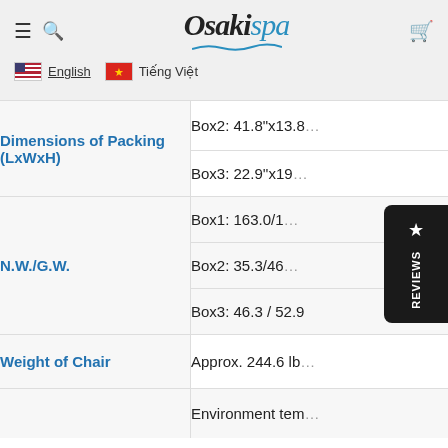Osakispa — English / Tiếng Việt navigation header
| Specification | Value |
| --- | --- |
| Dimensions of Packing (LxWxH) | Box2: 41.8"x13.8... |
|  | Box3: 22.9"'x19... |
|  | Box1: 163.0/1... |
| N.W./G.W. | Box2: 35.3/46... |
|  | Box3: 46.3 / 52.9 |
| Weight of Chair | Approx. 244.6 lb... |
|  | Environment tem... |